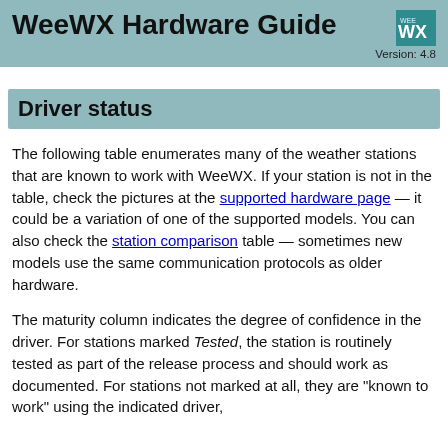WeeWX Hardware Guide — Version: 4.8
Driver status
The following table enumerates many of the weather stations that are known to work with WeeWX. If your station is not in the table, check the pictures at the supported hardware page — it could be a variation of one of the supported models. You can also check the station comparison table — sometimes new models use the same communication protocols as older hardware.
The maturity column indicates the degree of confidence in the driver. For stations marked Tested, the station is routinely tested as part of the release process and should work as documented. For stations not marked at all, they are "known to work" using the indicated driver,